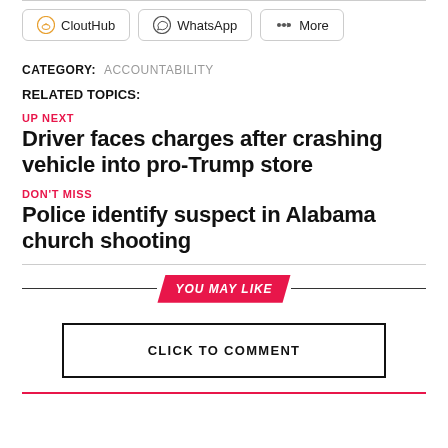CloutHub
WhatsApp
More
CATEGORY: ACCOUNTABILITY
RELATED TOPICS:
UP NEXT
Driver faces charges after crashing vehicle into pro-Trump store
DON'T MISS
Police identify suspect in Alabama church shooting
YOU MAY LIKE
CLICK TO COMMENT